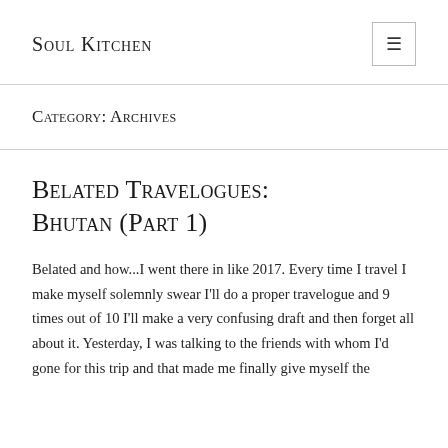Soul Kitchen
Category: Archives
Belated Travelogues: Bhutan (Part 1)
Belated and how...I went there in like 2017. Every time I travel I make myself solemnly swear I'll do a proper travelogue and 9 times out of 10 I'll make a very confusing draft and then forget all about it. Yesterday, I was talking to the friends with whom I'd gone for this trip and that made me finally give myself the